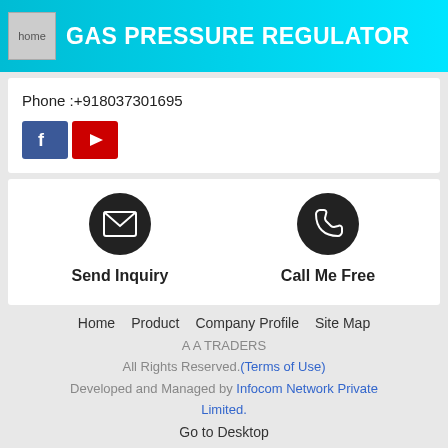GAS PRESSURE REGULATOR
Phone :+918037301695
[Figure (other): Facebook and YouTube social media icon buttons]
[Figure (other): Send Inquiry button with envelope icon]
[Figure (other): Call Me Free button with phone icon]
Send Inquiry
Call Me Free
Home   Product   Company Profile   Site Map
A A TRADERS
All Rights Reserved.(Terms of Use)
Developed and Managed by Infocom Network Private Limited.
Go to Desktop
[Figure (logo): tradeindia.com logo]